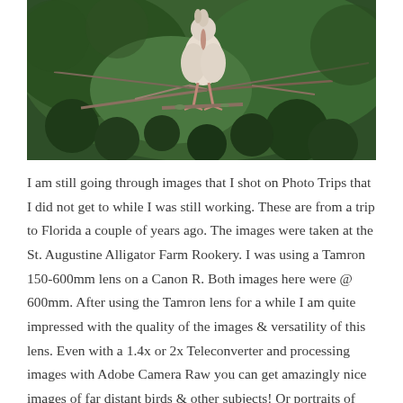[Figure (photo): A white/light-colored bird (likely a spoonbill or heron) perched on tree branches, photographed at the St. Augustine Alligator Farm Rookery. The bird has long pink legs and is surrounded by green foliage and bare branches.]
I am still going through images that I shot on Photo Trips that I did not get to while I was still working. These are from a trip to Florida a couple of years ago. The images were taken at the St. Augustine Alligator Farm Rookery. I was using a Tamron 150-600mm lens on a Canon R. Both images here were @ 600mm. After using the Tamron lens for a while I am quite impressed with the quality of the images & versatility of this lens. Even with a 1.4x or 2x Teleconverter and processing images with Adobe Camera Raw you can get amazingly nice images of far distant birds & other subjects! Or portraits of closer birds. The Canon R would still